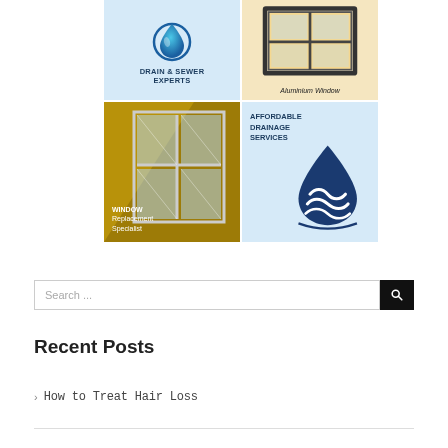[Figure (illustration): 2x2 grid of advertisement tiles: Drain & Sewer Experts (blue, water drop icon), Aluminium Window (beige, window illustration), Window Replacement Specialist (gold/yellow, window graphic), Affordable Drainage Services (light blue, water drop logo)]
Search ...
Recent Posts
> How to Treat Hair Loss